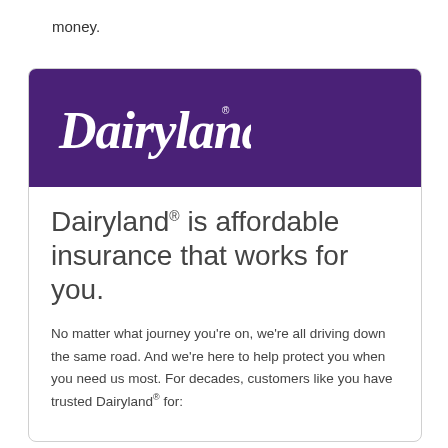money.
[Figure (logo): Dairyland logo in white script on purple background]
Dairyland® is affordable insurance that works for you.
No matter what journey you're on, we're all driving down the same road. And we're here to help protect you when you need us most. For decades, customers like you have trusted Dairyland® for: